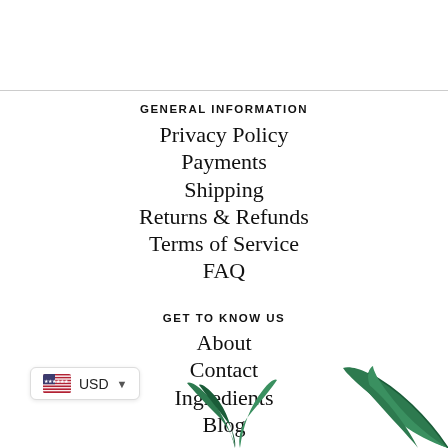GENERAL INFORMATION
Privacy Policy
Payments
Shipping
Returns & Refunds
Terms of Service
FAQ
GET TO KNOW US
About
Contact
Ingredients
Blog
[Figure (illustration): US flag currency selector showing USD with dropdown arrow]
[Figure (illustration): Decorative palm leaves at bottom of page]